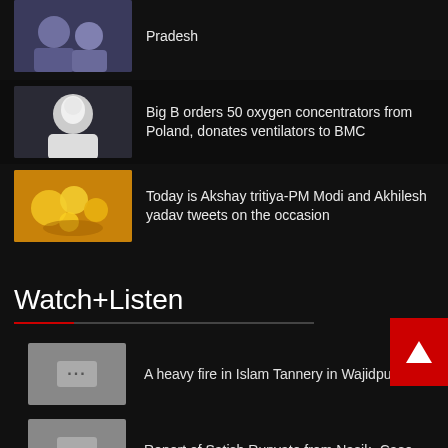Pradesh
[Figure (photo): thumbnail image of people]
Big B orders 50 oxygen concentrators from Poland, donates ventilators to BMC
[Figure (photo): thumbnail of Amitabh Bachchan]
Today is Akshay tritiya-PM Modi and Akhilesh yadav tweets on the occasion
[Figure (photo): thumbnail of gold items for Akshay tritiya]
Watch+Listen
A heavy fire in Islam Tannery in Wajidpur...
Report of Satish Rupvate from Nasik- Case...
Crisis on mango in Mallihabad ?? SWADESH ...
Short summary of the Third Phase Loksabha...